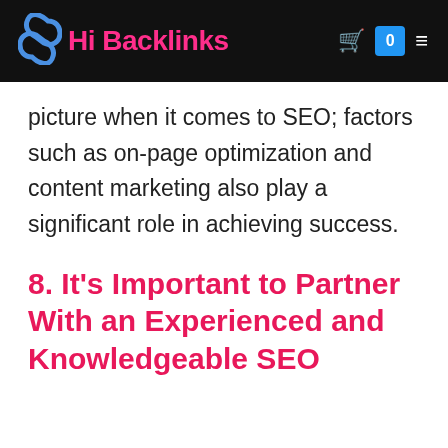Hi Backlinks
picture when it comes to SEO; factors such as on-page optimization and content marketing also play a significant role in achieving success.
8. It’s Important to Partner With an Experienced and Knowledgeable SEO